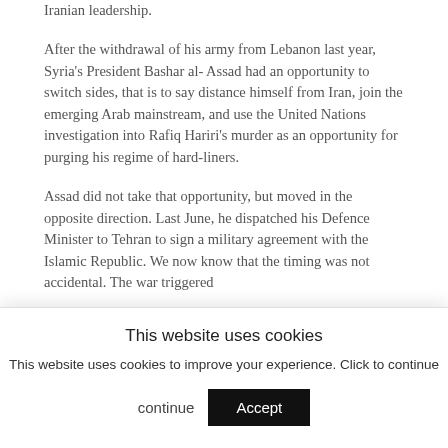Iranian leadership.
After the withdrawal of his army from Lebanon last year, Syria's President Bashar al- Assad had an opportunity to switch sides, that is to say distance himself from Iran, join the emerging Arab mainstream, and use the United Nations investigation into Rafiq Hariri's murder as an opportunity for purging his regime of hard-liners.
Assad did not take that opportunity, but moved in the opposite direction. Last June, he dispatched his Defence Minister to Tehran to sign a military agreement with the Islamic Republic. We now know that the timing was not accidental. The war triggered
This website uses cookies
This website uses cookies to improve your experience. Click to continue
Accept